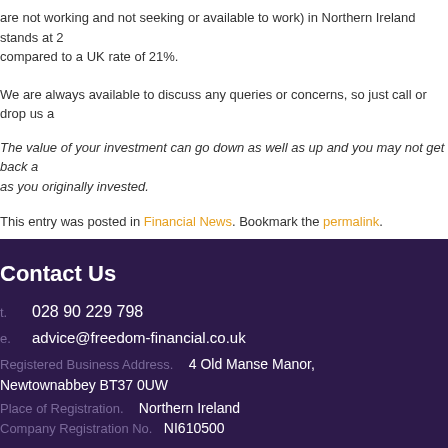are not working and not seeking or available to work) in Northern Ireland stands at 2 compared to a UK rate of 21%.
We are always available to discuss any queries or concerns, so just call or drop us a
The value of your investment can go down as well as up and you may not get back as you originally invested.
This entry was posted in Financial News. Bookmark the permalink.
Contact Us
t.   028 90 229 798
e.   advice@freedom-financial.co.uk
Registered Business Address.   4 Old Manse Manor, Newtownabbey BT37 0UW
Place of Registration.   Northern Ireland
Company Registration No.   NI610500